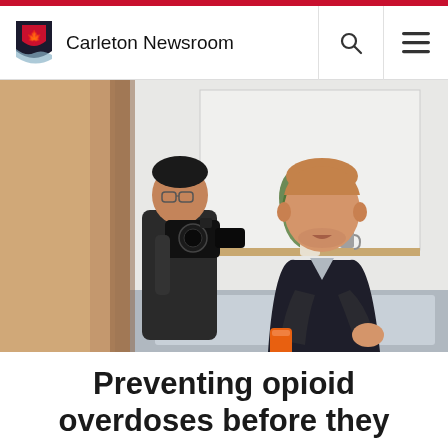Carleton Newsroom
[Figure (photo): A man in a dark blazer holding an orange object and gesturing with his hands, speaking in an indoor setting. A photographer with a DSLR camera is visible in the background on the left. A plant and shelf are visible behind the speaker against a white wall.]
Preventing opioid overdoses before they